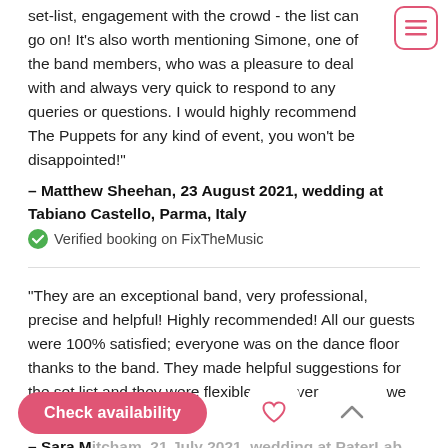set-list, engagement with the crowd - the list can go on! It's also worth mentioning Simone, one of the band members, who was a pleasure to deal with and always very quick to respond to any queries or questions. I would highly recommend The Puppets for any kind of event, you won't be disappointed!"
– Matthew Sheehan, 23 August 2021, wedding at Tabiano Castello, Parma, Italy
✅ Verified booking on FixTheMusic
"They are an exceptional band, very professional, precise and helpful! Highly recommended! All our guests were 100% satisfied; everyone was on the dance floor thanks to the band. They made helpful suggestions for the set list and they were flexible with every request we made. Plus, they are
– Sara Mitcham, 21 July 2021, wedding at PaterLab